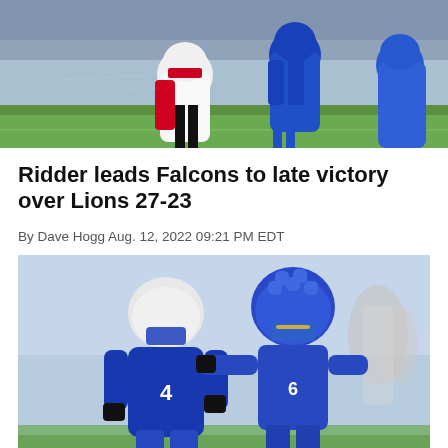[Figure (photo): Football players on field, one in red/white Falcons uniform being pursued by Lions players in blue uniforms]
Ridder leads Falcons to late victory over Lions 27-23
By Dave Hogg Aug. 12, 2022 09:21 PM EDT
[Figure (photo): Football players in blue uniforms with padded helmets engaging in practice drill on field]